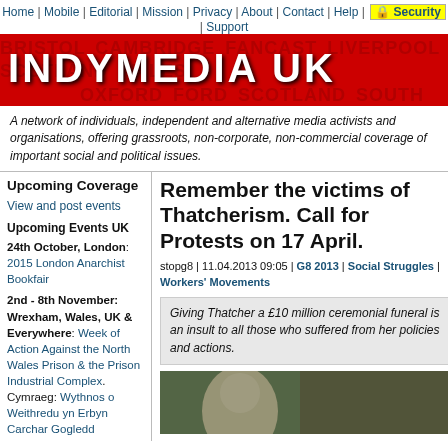Home | Mobile | Editorial | Mission | Privacy | About | Contact | Help | Security | Support
[Figure (logo): IndyMedia UK red banner logo with white bold text 'INDYMEDIA UK' and background city names]
A network of individuals, independent and alternative media activists and organisations, offering grassroots, non-corporate, non-commercial coverage of important social and political issues.
Upcoming Coverage
View and post events
Upcoming Events UK
24th October, London: 2015 London Anarchist Bookfair
2nd - 8th November: Wrexham, Wales, UK & Everywhere: Week of Action Against the North Wales Prison & the Prison Industrial Complex. Cymraeg: Wythnos o Weithredu yn Erbyn Carchar Gogledd
Remember the victims of Thatcherism. Call for Protests on 17 April.
stopg8 | 11.04.2013 09:05 | G8 2013 | Social Struggles | Workers' Movements
Giving Thatcher a £10 million ceremonial funeral is an insult to all those who suffered from her policies and actions.
[Figure (photo): Partial photo of a person, appears to be a protest or documentary image]